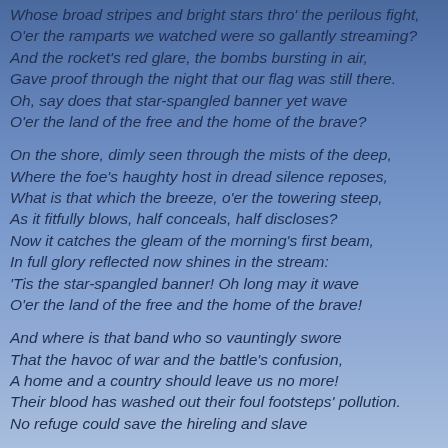Whose broad stripes and bright stars thro' the perilous fight,
O'er the ramparts we watched were so gallantly streaming?
And the rocket's red glare, the bombs bursting in air,
Gave proof through the night that our flag was still there.
Oh, say does that star-spangled banner yet wave
O'er the land of the free and the home of the brave?
On the shore, dimly seen through the mists of the deep,
Where the foe's haughty host in dread silence reposes,
What is that which the breeze, o'er the towering steep,
As it fitfully blows, half conceals, half discloses?
Now it catches the gleam of the morning's first beam,
In full glory reflected now shines in the stream:
'Tis the star-spangled banner! Oh long may it wave
O'er the land of the free and the home of the brave!
And where is that band who so vauntingly swore
That the havoc of war and the battle's confusion,
A home and a country should leave us no more!
Their blood has washed out their foul footsteps' pollution.
No refuge could save the hireling and slave